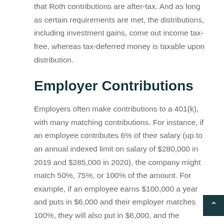that Roth contributions are after-tax. And as long as certain requirements are met, the distributions, including investment gains, come out income tax-free, whereas tax-deferred money is taxable upon distribution.
Employer Contributions
Employers often make contributions to a 401(k), with many matching contributions. For instance, if an employee contributes 6% of their salary (up to an annual indexed limit on salary of $280,000 in 2019 and $285,000 in 2020), the company might match 50%, 75%, or 100% of the amount. For example, if an employee earns $100,000 a year and puts in $6,000 and their employer matches 100%, they will also put in $6,000, and the employee